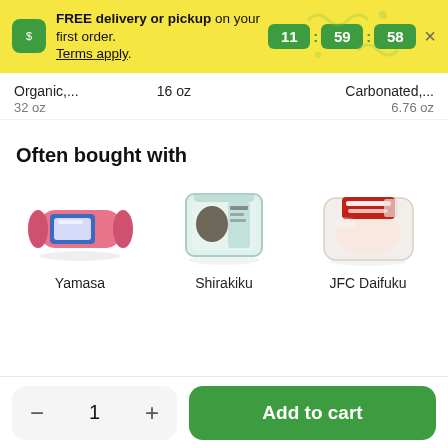FREE delivery or pickup on your first order. Terms apply. 11:59:58
Organic,... 32 oz
16 oz
Carbonated,... 6.76 oz
Often bought with
[Figure (photo): Yamasa product - pink/red packaged food item]
[Figure (photo): Shirakiku product - clear packaged food item]
[Figure (photo): JFC Daifuku product - wrapped mochi package]
Yamasa
Shirakiku
JFC Daifuku
- 1 + Add to cart